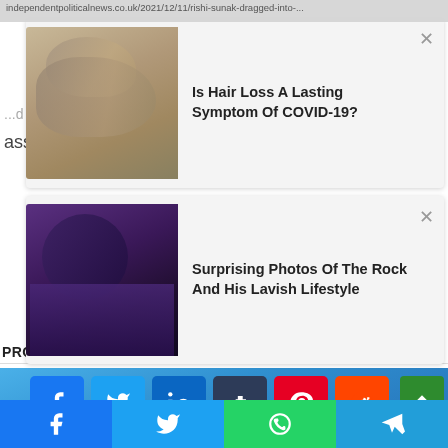independentpoliticalnews.co.uk/2021/12/11/rishi-sunak-dragged-into-...
[Figure (photo): Ad card: hair loss photo with close button. Title: Is Hair Loss A Lasting Symptom Of COVID-19?]
...d into the back row after Treasury confirmed the assembly
[Figure (photo): Ad card: photo of The Rock in tuxedo with close button. Title: Surprising Photos Of The Rock And His Lavish Lifestyle]
Social share buttons: Facebook, Twitter, LinkedIn, Tumblr, Pinterest, Reddit
PROMOTED CONTENT
[Figure (logo): mgid logo with play button icon]
[Figure (illustration): Blue gradient promotional content area]
Bottom share bar: Facebook, Twitter, WhatsApp, Telegram